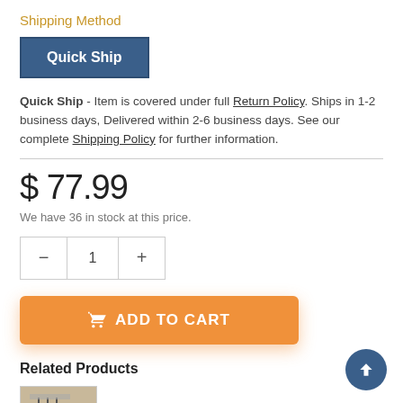Shipping Method
Quick Ship
Quick Ship - Item is covered under full Return Policy. Ships in 1-2 business days, Delivered within 2-6 business days. See our complete Shipping Policy for further information.
$ 77.99
We have 36 in stock at this price.
ADD TO CART
Related Products
[Figure (photo): Small thumbnail image of an office chair product]